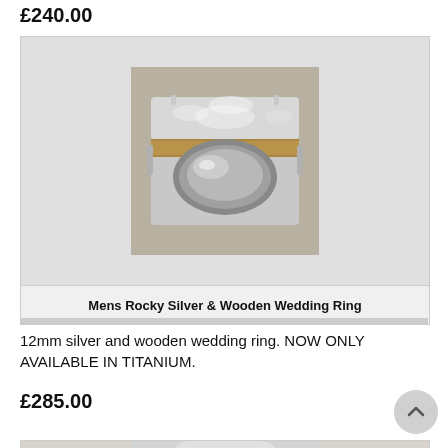£240.00
[Figure (photo): A silver and wooden wedding ring viewed from the inside, showing rocky texture on the outer silver band with a wooden inlay strip in the middle]
Mens Rocky Silver & Wooden Wedding Ring
12mm silver and wooden wedding ring. NOW ONLY AVAILABLE IN TITANIUM.
£285.00
[Figure (photo): Bottom of page showing top portion of another ring product card with a similar silver and wooden ring]